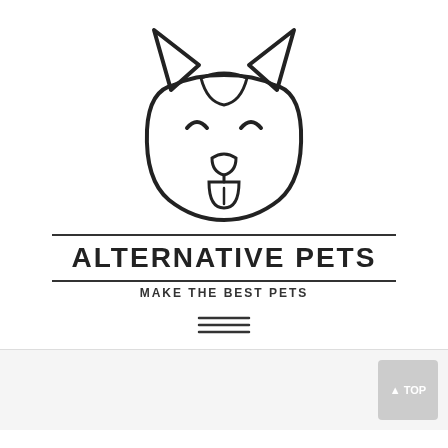[Figure (logo): Minimalist line-art dog face logo with pointed ears, curved eyes, triangular nose, and protruding tongue.]
ALTERNATIVE PETS
MAKE THE BEST PETS
Tag: skilled